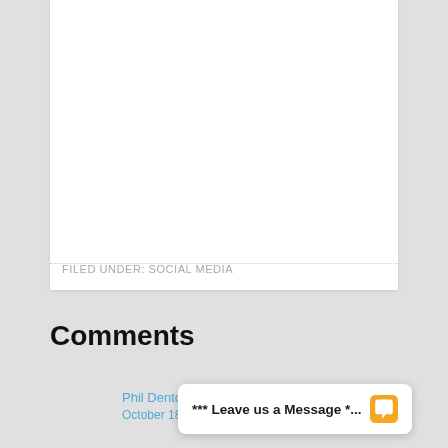FILED UNDER: SOCIAL MEDIA
Comments
Phil Denton sa...
October 18, 201...
*** Leave us a Message *...